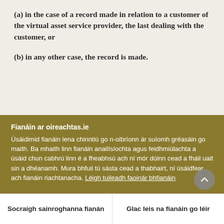(a) in the case of a record made in relation to a customer of the virtual asset service provider, the last dealing with the customer, or
(b) in any other case, the record is made.
Fianáin ar oireachtas.ie
Úsáidimid fianáin lena chinntiú go n-oibríonn ár suíomh gréasáin go maith. Ba mhaith linn fianáin anailísíochta agus feidhmiúlachta a úsáid chun cabhrú linn é a fheabhsú ach ní mór dúinn cead a fháil uait sin a dhéanamh. Mura bhfuil tú sásta cead a thabhairt, ní úsáidfear ach fianáin riachtanacha. Léigh tuileadh faoinár bhfianáin
Socraigh sainroghanna fianán
Glac leis na fianáin go léir